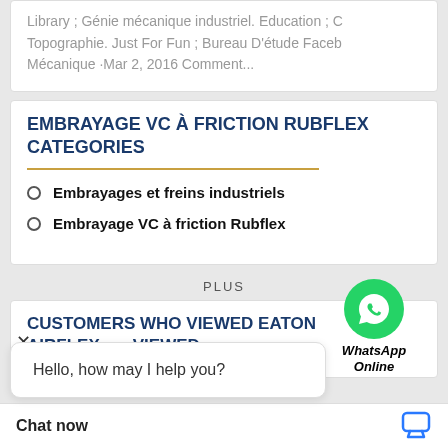Library ; Génie mécanique industriel. Education ; C Topographie. Just For Fun ; Bureau D'étude Faceb Mécanique ·Mar 2, 2016 Comment...
EMBRAYAGE VC À FRICTION RUBFLEX CATEGORIES
Embrayages et freins industriels
Embrayage VC à friction Rubflex
[Figure (logo): WhatsApp green circle icon with phone handset, labeled 'WhatsApp Online']
PLUS
Hello, how may I help you?
CUSTOMERS WHO VIEWED EATON AIRFLEX VIEWED
Chat now